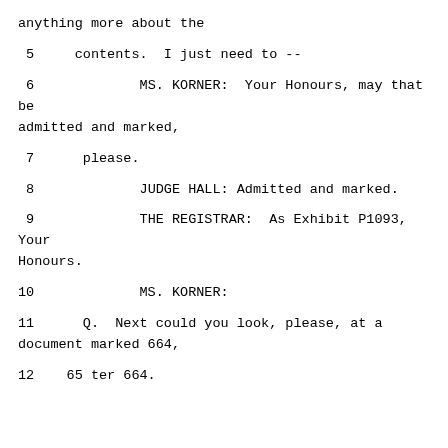anything more about the
5     contents.  I just need to --
6             MS. KORNER:  Your Honours, may that be admitted and marked,
7      please.
8             JUDGE HALL: Admitted and marked.
9             THE REGISTRAR:  As Exhibit P1093, Your Honours.
10             MS. KORNER:
11      Q.  Next could you look, please, at a document marked 664,
12    65 ter 664.